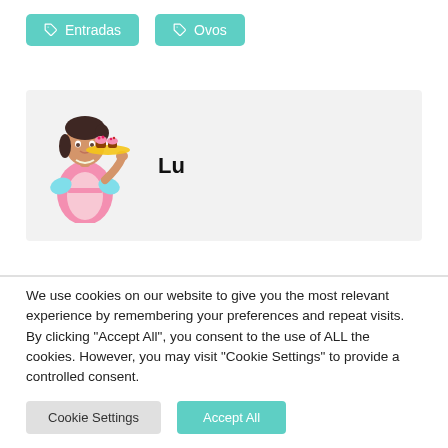Entradas
Ovos
[Figure (illustration): Author card with cartoon illustration of a woman baker holding a tray of cupcakes, with the name 'Lu' beside her]
We use cookies on our website to give you the most relevant experience by remembering your preferences and repeat visits. By clicking “Accept All”, you consent to the use of ALL the cookies. However, you may visit "Cookie Settings" to provide a controlled consent.
Cookie Settings
Accept All